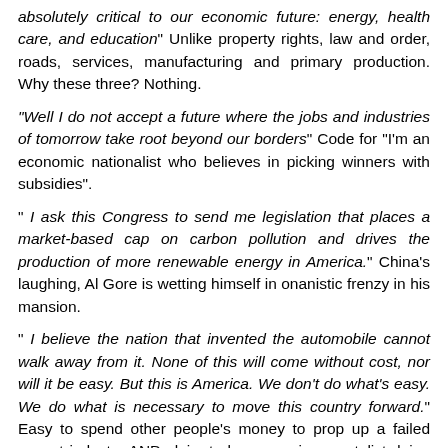absolutely critical to our economic future: energy, health care, and education" Unlike property rights, law and order, roads, services, manufacturing and primary production. Why these three? Nothing.
"Well I do not accept a future where the jobs and industries of tomorrow take root beyond our borders" Code for "I'm an economic nationalist who believes in picking winners with subsidies".
" I ask this Congress to send me legislation that places a market-based cap on carbon pollution and drives the production of more renewable energy in America." China's laughing, Al Gore is wetting himself in onanistic frenzy in his mansion.
" I believe the nation that invented the automobile cannot walk away from it. None of this will come without cost, nor will it be easy. But this is America. We don't do what's easy. We do what is necessary to move this country forward." Easy to spend other people's money to prop up a failed sunset industry AND claim to be an environmentalist doing it.